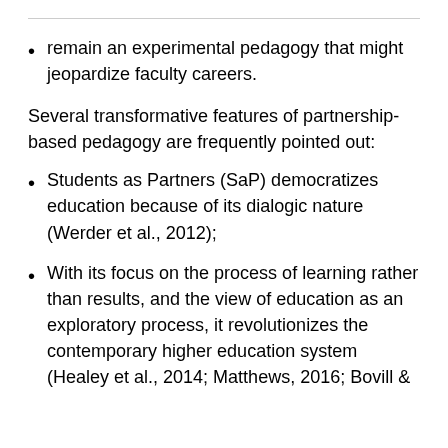remain an experimental pedagogy that might jeopardize faculty careers.
Several transformative features of partnership-based pedagogy are frequently pointed out:
Students as Partners (SaP) democratizes education because of its dialogic nature (Werder et al., 2012);
With its focus on the process of learning rather than results, and the view of education as an exploratory process, it revolutionizes the contemporary higher education system (Healey et al., 2014; Matthews, 2016; Bovill &